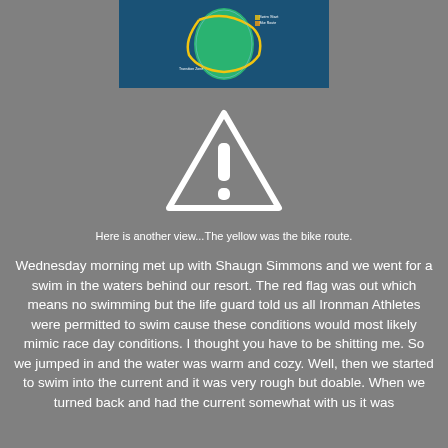[Figure (map): A dark blue map showing an island with a yellow route marked on it, appearing to be the bike route for an Ironman triathlon event]
[Figure (other): A warning/caution triangle icon with white outline and exclamation mark on grey background]
Here is another view...The yellow was the bike route.
Wednesday morning met up with Shaugn Simmons and we went for a swim in the waters behind our resort.  The red flag was out which means no swimming but the life guard told us all Ironman Athletes were permitted to swim cause these conditions would most likely mimic race day conditions.  I thought you have to be shitting me.  So we jumped in and the water was warm and cozy.  Well, then we started to swim into the current and it was very rough but doable.  When we turned back and had the current somewhat with us it was